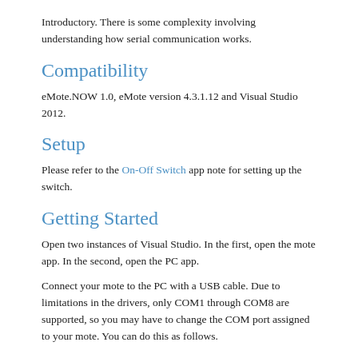Introductory. There is some complexity involving understanding how serial communication works.
Compatibility
eMote.NOW 1.0, eMote version 4.3.1.12 and Visual Studio 2012.
Setup
Please refer to the On-Off Switch app note for setting up the switch.
Getting Started
Open two instances of Visual Studio. In the first, open the mote app. In the second, open the PC app.
Connect your mote to the PC with a USB cable. Due to limitations in the drivers, only COM1 through COM8 are supported, so you may have to change the COM port assigned to your mote. You can do this as follows.